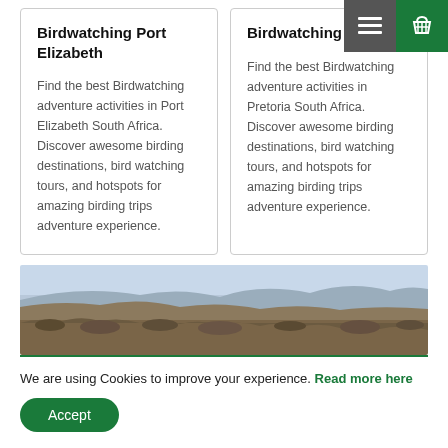Birdwatching Port Elizabeth
Find the best Birdwatching adventure activities in Port Elizabeth South Africa. Discover awesome birding destinations, bird watching tours, and hotspots for amazing birding trips adventure experience.
Birdwatching Pretoria
Find the best Birdwatching adventure activities in Pretoria South Africa. Discover awesome birding destinations, bird watching tours, and hotspots for amazing birding trips adventure experience.
[Figure (photo): Landscape photo of dry scrubland with hills and pale blue sky]
We are using Cookies to improve your experience. Read more here
Accept